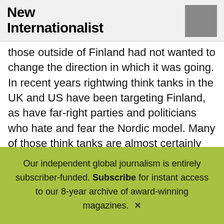New Internationalist
those outside of Finland had not wanted to change the direction in which it was going. In recent years rightwing think tanks in the UK and US have been targeting Finland, as have far-right parties and politicians who hate and fear the Nordic model. Many of those think tanks are almost certainly largely funded by US businesses and billionaires but they claim to present independent research and their funders hide behind a dark veil of anonymity.13
In the not-so distant past, and still occasionally today,
Our independent global journalism is entirely subscriber-funded. Subscribe for instant access to our 8-year archive of award-winning magazines. ✕